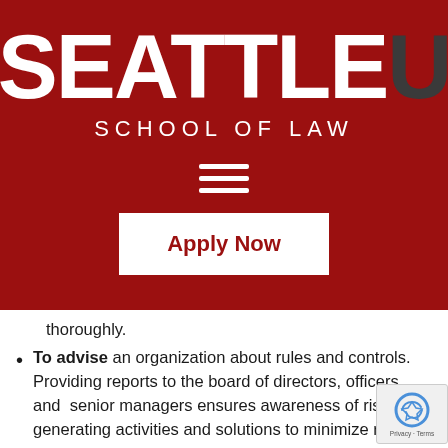[Figure (logo): Seattle U School of Law logo on dark red background with hamburger menu icon and Apply Now button]
thoroughly.
To advise an organization about rules and controls. Providing reports to the board of directors, officers, and senior managers ensures awareness of risk-generating activities and solutions to minimize risk.